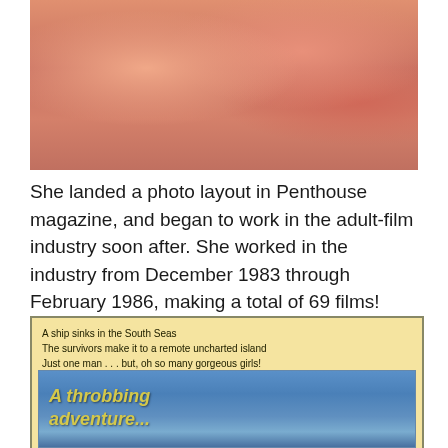[Figure (photo): Close-up photo showing hands and body in warm orange/pink tones, appears to be from an adult publication]
She landed a photo layout in Penthouse magazine, and began to work in the adult-film industry soon after. She worked in the industry from December 1983 through February 1986, making a total of 69 films!
[Figure (photo): Movie poster with sandy yellow background. Text reads: 'A ship sinks in the South Seas / The survivors make it to a remote uncharted island / Just one man . . . but, oh so many gorgeous girls!' with tagline 'A throbbing adventure...' over a beach photo with people]